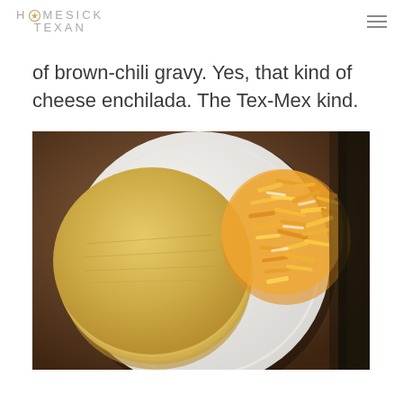HOMESICK TEXAN
of brown-chili gravy. Yes, that kind of cheese enchilada. The Tex-Mex kind.
[Figure (photo): Top-down view of a white plate on a dark brown surface holding a stack of yellow corn tortillas on the left and a pile of shredded orange-yellow cheese on the right, with a dark edge at the far right.]